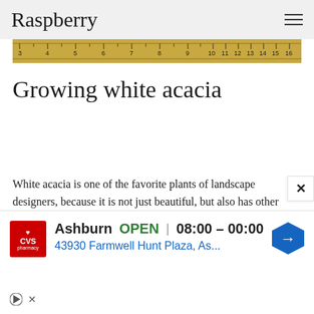Raspberry
[Figure (photo): Wooden ruler measuring tape strip showing numbers 3 through 16]
Growing white acacia
White acacia is one of the favorite plants of landscape designers, because it is not just beautiful, but also has other advantages - it grows incredibly fast, allows you to decorate various sections and compositions in an original way, you can easily create a beautiful crown. In
[Figure (infographic): CVS Pharmacy advertisement showing location in Ashburn, OPEN status, hours 08:00-00:00, address 43930 Farmwell Hunt Plaza, As..., navigation diamond icon, with play and close controls]